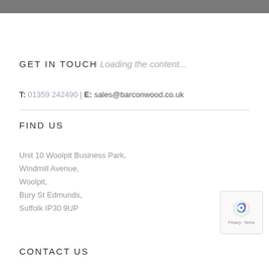GET IN TOUCH
Loading the content...
T: 01359 242490 | E: sales@barconwood.co.uk
FIND US
Unit 10 Woolpit Business Park,
Windmill Avenue,
Woolpit,
Bury St Edmunds,
Suffolk IP30 9UP
CONTACT US